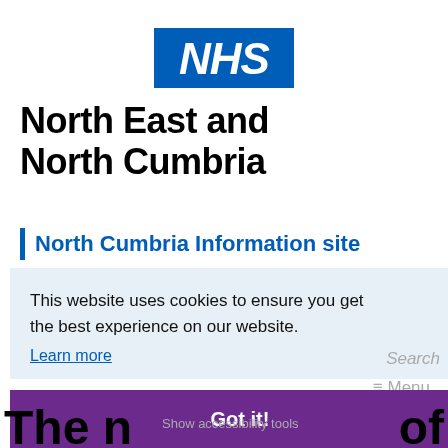[Figure (logo): NHS logo — white italic text 'NHS' on a blue rectangular background]
North East and North Cumbria
North Cumbria Information site
This website uses cookies to ensure you get the best experience on our website.
Learn more
Got it!
Show accessibility tools
The n… of